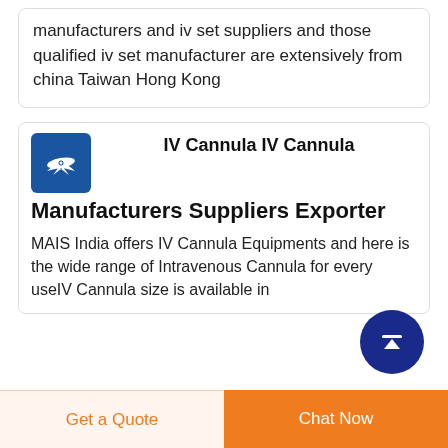manufacturers and iv set suppliers and those qualified iv set manufacturer are extensively from china Taiwan Hong Kong
IV Cannula IV Cannula Manufacturers Suppliers Exporter
MAIS India offers IV Cannula Equipments and here is the wide range of Intravenous Cannula for every useIV Cannula size is available in
[Figure (logo): Blue square icon with white airplane/cross symbol]
[Figure (other): Dark blue circular scroll-to-top button with white upward arrow]
Get a Quote
Chat Now